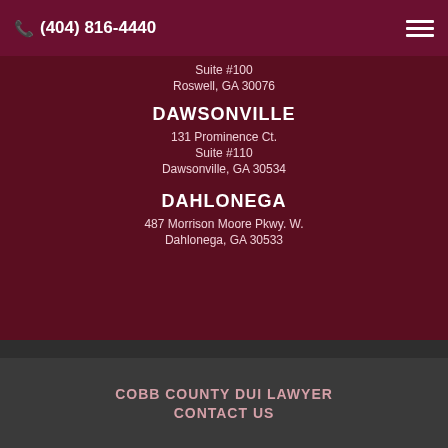(404) 816-4440
Suite #100
Roswell, GA 30076
DAWSONVILLE
131 Prominence Ct.
Suite #110
Dawsonville, GA 30534
DAHLONEGA
487 Morrison Moore Pkwy. W.
Dahlonega, GA 30533
COBB COUNTY DUI LAWYER
CONTACT US